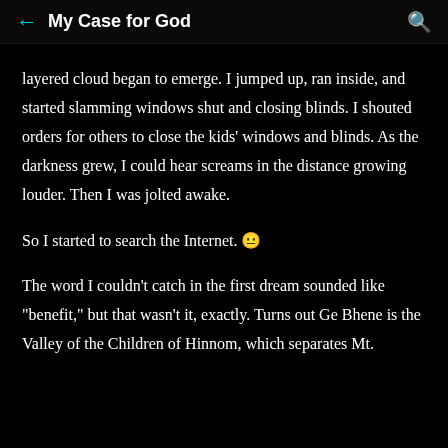My Case for God
layered cloud began to emerge. I jumped up, ran inside, and started slamming windows shut and closing blinds. I shouted orders for others to close the kids' windows and blinds. As the darkness grew, I could hear screams in the distance growing louder. Then I was jolted awake.
So I started to search the Internet. 🙂
The word I couldn't catch in the first dream sounded like "benefit," but that wasn't it, exactly. Turns out Ge Bhene is the Valley of the Children of Hinnom, which separates Mt.